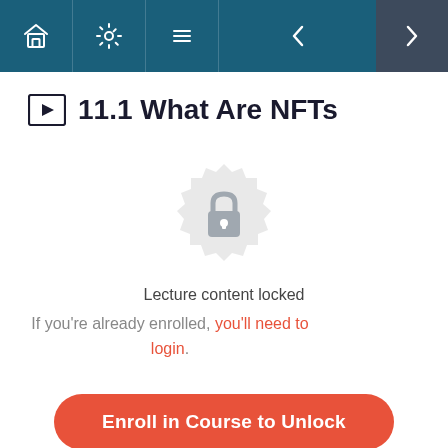Navigation bar with home, settings, list, back arrow, and forward arrow icons
11.1 What Are NFTs
[Figure (illustration): A circular badge/seal icon with a padlock in the center, rendered in light gray, indicating locked content]
Lecture content locked
If you're already enrolled, you'll need to login.
Enroll in Course to Unlock